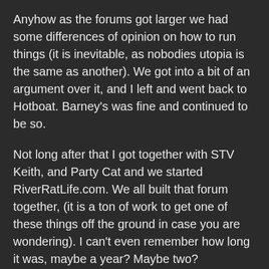Anyhow as the forums got larger we had some differences of opinion on how to run things (it is inevitable, as nobodies utopia is the same as another). We got into a bit of an argument over it, and I left and went back to Hotboat. Barney's was fine and continued to be so.
Not long after that I got together with STV Keith, and Party Cat and we started RiverRatLife.com. We all built that forum together, (it is a ton of work to get one of these things off the ground in case you are wondering). I can't even remember how long it was, maybe a year? Maybe two?
Jim hacked into the actual software, and told me "we got a problem" he was showing me some peoples private messages that were basically talking shit on the site, myself etc.. but all smiles on the front end. My response was "What in the fuck are you doing reading